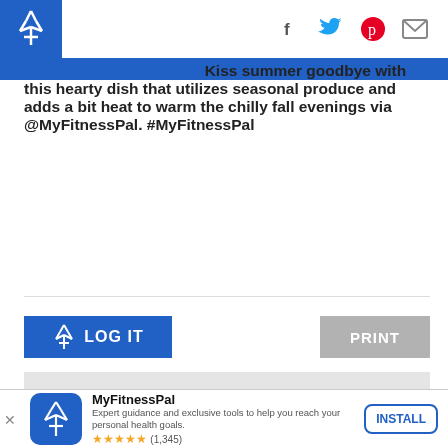MyFitnessPal logo and social icons (Facebook, Twitter, Pinterest, Mail)
CLICK TO TWEET THIS ARTICLE > Kiss summer goodbye with this hearty dish that utilizes seasonal produce and adds a bit heat to warm the chilly fall evenings via @MyFitnessPal. #MyFitnessPal
[Figure (other): LOG IT button with MyFitnessPal logo icon]
[Figure (other): PRINT button]
Chicken and Zucchini Enchiladas
You're taking control of your
MyFitnessPal
Expert guidance and exclusive tools to help you reach your personal health goals.
★★★★★ (1,345)
[Figure (other): INSTALL button for MyFitnessPal app]